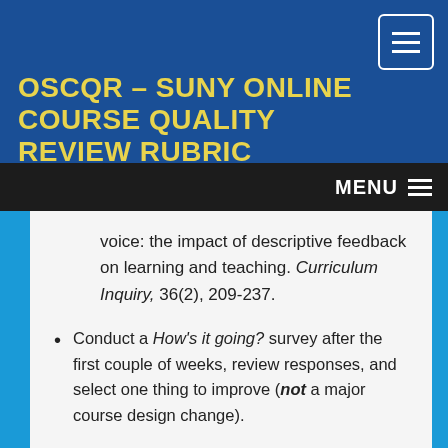OSCQR – SUNY ONLINE COURSE QUALITY REVIEW RUBRIC
voice: the impact of descriptive feedback on learning and teaching. Curriculum Inquiry, 36(2), 209-237.
Conduct a How's it going? survey after the first couple of weeks, review responses, and select one thing to improve (not a major course design change).
End of course, How did it go? Survey. Continuous improvement of course design or delivery is identified and address.